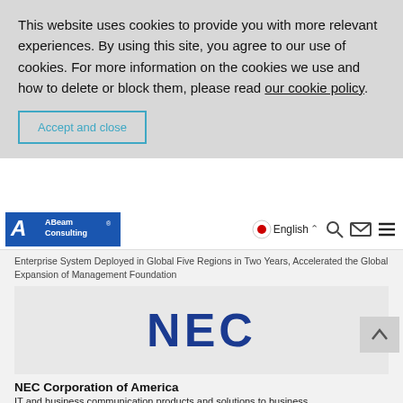This website uses cookies to provide you with more relevant experiences. By using this site, you agree to our use of cookies. For more information on the cookies we use and how to delete or block them, please read our cookie policy.
Accept and close
[Figure (logo): ABeam Consulting logo with navigation bar including Japanese flag, English language selector, search icon, mail icon, and menu icon]
Enterprise System Deployed in Global Five Regions in Two Years, Accelerated the Global Expansion of Management Foundation
[Figure (logo): NEC logo in dark blue bold text on light grey background]
NEC Corporation of America
IT and business communication products and solutions to business